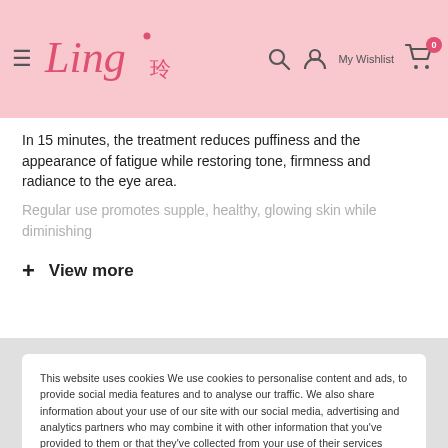Ling 玲 — My Wishlist 0
In 15 minutes, the treatment reduces puffiness and the appearance of fatigue while restoring tone, firmness and radiance to the eye area.
Regular use promotes supple, healthy, glowing skin while diminishing
+ View more
This website uses cookies We use cookies to personalise content and ads, to provide social media features and to analyse our traffic. We also share information about your use of our site with our social media, advertising and analytics partners who may combine it with other information that you've provided to them or that they've collected from your use of their services
Accept